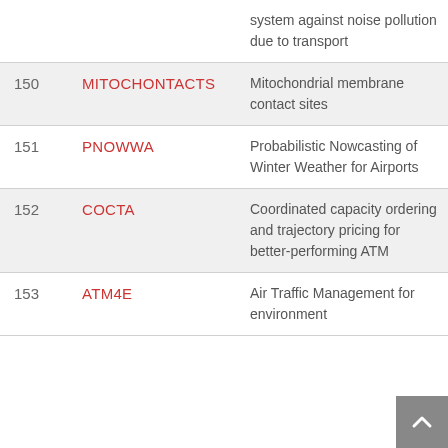| # | Acronym | Description |
| --- | --- | --- |
|  |  | system against noise pollution due to transport |
| 150 | MITOCHONTACTS | Mitochondrial membrane contact sites |
| 151 | PNOWWA | Probabilistic Nowcasting of Winter Weather for Airports |
| 152 | COCTA | Coordinated capacity ordering and trajectory pricing for better-performing ATM |
| 153 | ATM4E | Air Traffic Management for environment |